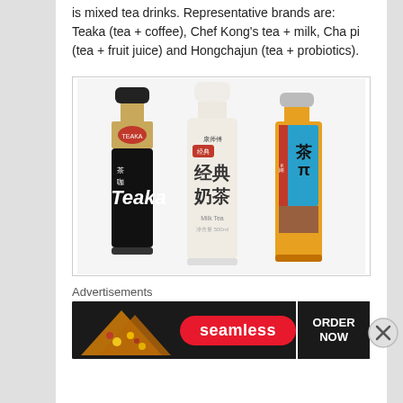is mixed tea drinks. Representative brands are: Teaka (tea + coffee), Chef Kong's tea + milk, Cha pi (tea + fruit juice) and Hongchajun (tea + probiotics).
[Figure (photo): Three Chinese mixed tea drink bottles: Teaka (black bottle, tea + coffee), Chef Kong's Classic Milk Tea (white bottle), and Cha pi (orange bottle with Chinese characters 茶π).]
Advertisements
[Figure (photo): Seamless food delivery advertisement banner with pizza image on the left, Seamless logo in the center, and ORDER NOW button on the right.]